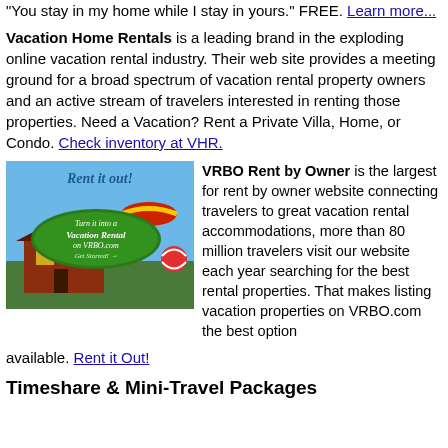"You stay in my home while I stay in yours." FREE. Learn more...
Vacation Home Rentals is a leading brand in the exploding online vacation rental industry. Their web site provides a meeting ground for a broad spectrum of vacation rental property owners and an active stream of travelers interested in renting those properties. Need a Vacation? Rent a Private Villa, Home, or Condo. Check inventory at VHR.
[Figure (photo): Advertisement image for VRBO.com - Rent it out! Turn it into a Vacation Rental on VRBO.com. Get Started! Shows beach umbrella, ball, and vacation house.]
VRBO Rent by Owner is the largest for rent by owner website connecting travelers to great vacation rental accommodations, more than 80 million travelers visit our website each year searching for the best rental properties. That makes listing vacation properties on VRBO.com the best option available. Rent it Out!
Timeshare & Mini-Travel Packages